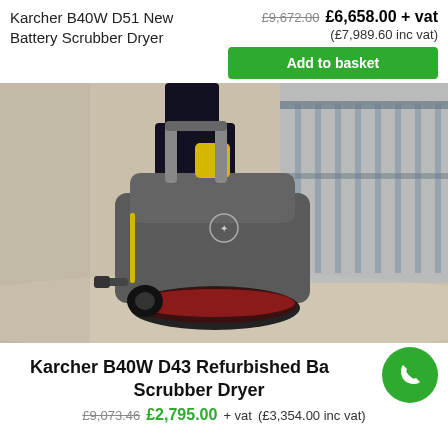Karcher B40W D51 New Battery Scrubber Dryer
£9,672.00  £6,658.00 + vat  (£7,989.60 inc vat)
Add to basket
[Figure (photo): A person operating a Karcher B40W D51 walk-behind battery scrubber dryer machine on a shiny floor in a corridor with glass railings in the background.]
Karcher B40W D43 Refurbished Battery Scrubber Dryer
£9,073.46  £2,795.00 + vat  (£3,354.00 inc vat)